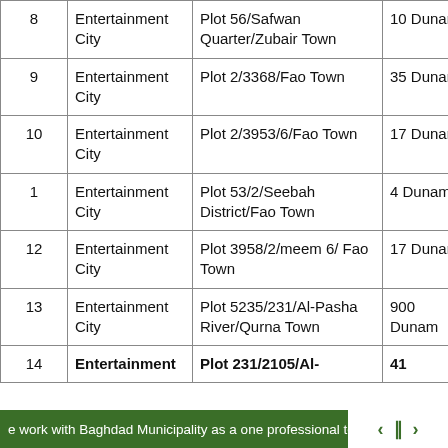| # | Type | Plot | Size | Location |
| --- | --- | --- | --- | --- |
| 8 | Entertainment City | Plot 56/Safwan Quarter/Zubair Town | 10 Dunam | Basr… |
| 9 | Entertainment City | Plot 2/3368/Fao Town | 35 Dunam | Basr… |
| 10 | Entertainment City | Plot 2/3953/6/Fao Town | 17 Dunam | Basr… |
| 1 | Entertainment City | Plot 53/2/Seebah District/Fao Town | 4 Dunam | Basr… |
| 12 | Entertainment City | Plot 3958/2/meem 6/ Fao Town | 17 Dunam | Basr… |
| 13 | Entertainment City | Plot 5235/231/Al-Pasha River/Qurna Town | 900 Dunam | Basr… |
| 14 | Entertainment City (bold) | Plot 231/2105/Al- (bold) | 41 (bold) | Basr… |
e work with Baghdad Municipality as a one professional te